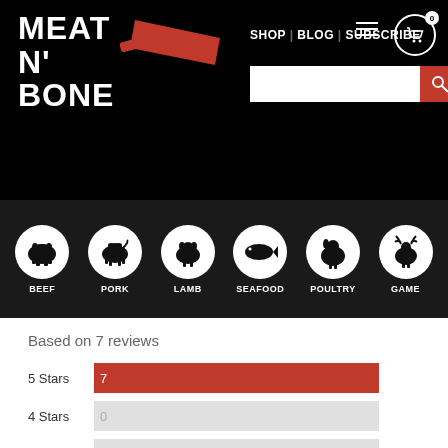[Figure (logo): Meat N' Bone logo with cleaver icon on black background]
SHOP | BLOG | SUBSCRIBE
[Figure (infographic): Category navigation icons: BEEF, PORK, LAMB, SEAFOOD, POULTRY, GAME — white animal silhouettes in white circles on dark background]
Based on 7 reviews
[Figure (bar-chart): Star ratings breakdown]
100% of reviewers would recommend this product to a friend